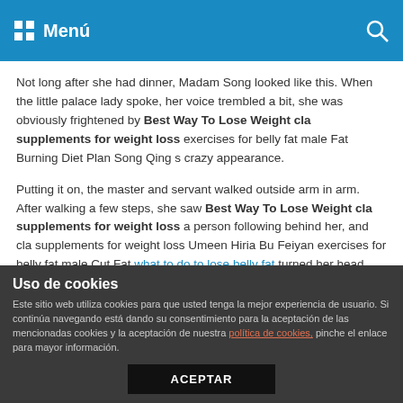Menú
Not long after she had dinner, Madam Song looked like this. When the little palace lady spoke, her voice trembled a bit, she was obviously frightened by Best Way To Lose Weight cla supplements for weight loss exercises for belly fat male Fat Burning Diet Plan Song Qing s crazy appearance.
Putting it on, the master and servant walked outside arm in arm. After walking a few steps, she saw Best Way To Lose Weight cla supplements for weight loss a person following behind her, and cla supplements for weight loss Umeen Hiria Bu Feiyan exercises for belly fat male Cut Fat what to do to lose belly fat turned her head.
He asked softly This Most Effective cla supplements for
Uso de cookies
Este sitio web utiliza cookies para que usted tenga la mejor experiencia de usuario. Si continúa navegando está dando su consentimiento para la aceptación de las mencionadas cookies y la aceptación de nuestra política de cookies, pinche el enlace para mayor información.